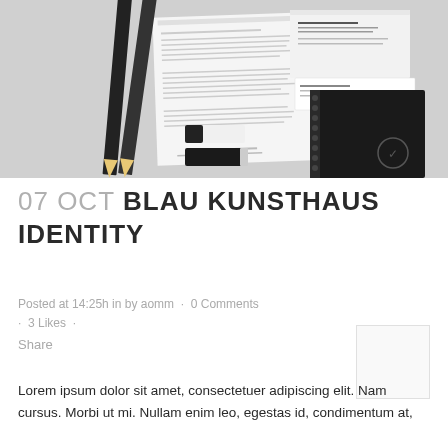[Figure (photo): Branding identity mockup scene on grey background showing pencils, a letterhead document, business cards, USB drives, and a black spiral notebook arranged on a light grey surface.]
07 OCT BLAU KUNSTHAUS IDENTITY
Posted at 14:25h in by aomm · 0 Comments · 3 Likes ·
Share
Lorem ipsum dolor sit amet, consectetuer adipiscing elit. Nam cursus. Morbi ut mi. Nullam enim leo, egestas id, condimentum at,